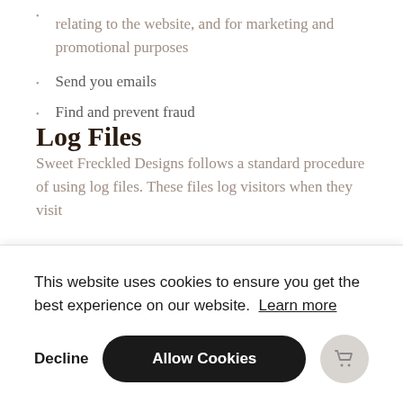relating to the website, and for marketing and promotional purposes
Send you emails
Find and prevent fraud
Log Files
Sweet Freckled Designs follows a standard procedure of using log files. These files log visitors when they visit
This website uses cookies to ensure you get the best experience on our website. Learn more
Decline
Allow Cookies